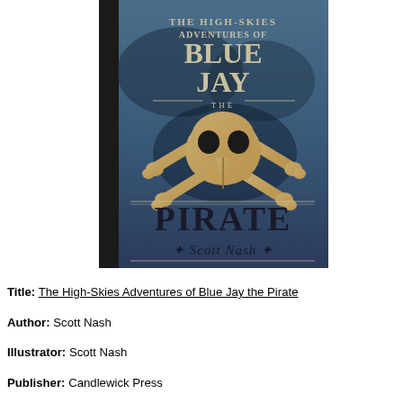[Figure (illustration): Book cover of 'The High-Skies Adventures of Blue Jay the Pirate' by Scott Nash. Blue background with a bird skull and crossbones illustration in tan/gold. Title text at top, 'PIRATE' in large letters at bottom, author name 'Scott Nash' in script at the very bottom.]
Title: The High-Skies Adventures of Blue Jay the Pirate
Author: Scott Nash
Illustrator: Scott Nash
Publisher: Candlewick Press
Publication Date: September 25th, 2012
Genre/Format: Fantasy/Novel
Goodreads Summary: Hoist the Jolly Robin! Fly with a swashbuckling crew as they soar through the air — and